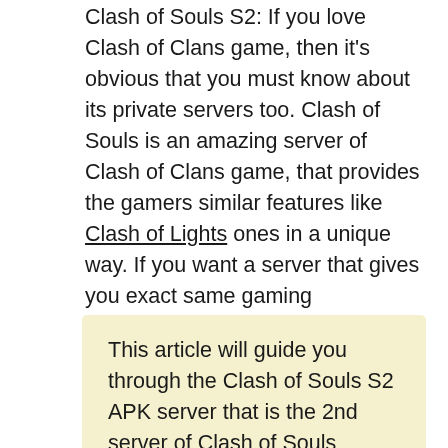Clash of Souls S2: If you love Clash of Clans game, then it's obvious that you must know about its private servers too. Clash of Souls is an amazing server of Clash of Clans game, that provides the gamers similar features like Clash of Lights ones in a unique way. If you want a server that gives you exact same gaming experience without any restrictions, then Clash of Souls server is perfect for you as it provides you unlimited resources without any changing in-game.
This article will guide you through the Clash of Souls S2 APK server that is the 2nd server of Clash of Souls series. It will provide you all the resources and nothing will change in the gameplay of the original game except the buildings and costumes of troops. Before going